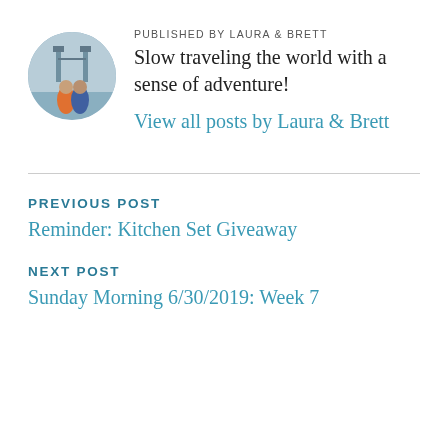[Figure (photo): Circular avatar photo of two people (Laura and Brett) in front of Tower Bridge, London. One person wearing orange jacket.]
PUBLISHED BY LAURA & BRETT
Slow traveling the world with a sense of adventure!
View all posts by Laura & Brett
PREVIOUS POST
Reminder: Kitchen Set Giveaway
NEXT POST
Sunday Morning 6/30/2019: Week 7